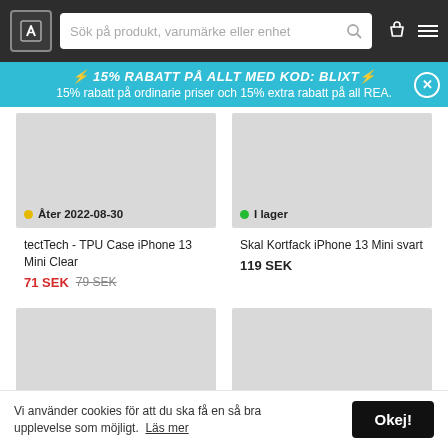[Figure (screenshot): Website header with logo, search bar, cart icon, and hamburger menu on dark background]
⚡ 15% RABATT PÅ ALLT MED KOD: BLIXT⚡
15% rabatt på ordinarie priser och 15% extra rabatt på all REA.
[Figure (photo): Product image placeholder (grey box) with yellow dot and text 'Åter 2022-08-30']
tectTech - TPU Case iPhone 13 Mini Clear
71 SEK  79 SEK
[Figure (photo): Product image placeholder (grey box) with green dot and text 'I lager']
Skal Kortfack iPhone 13 Mini svart
119 SEK
[Figure (photo): Lower left product image placeholder (grey box), partially visible]
[Figure (photo): Lower right product image placeholder (grey box), partially visible]
Vi använder cookies för att du ska få en så bra upplevelse som möjligt.  Läs mer
Okej!